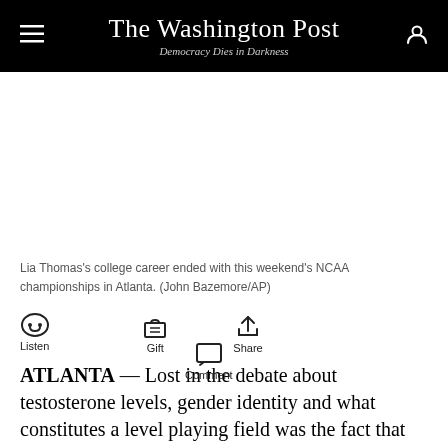The Washington Post — Democracy Dies in Darkness
[Figure (photo): Blank/white space where a photo of Lia Thomas would appear]
Lia Thomas's college career ended with this weekend's NCAA championships in Atlanta. (John Bazemore/AP)
Listen | Gift | Share | Comment
ATLANTA — Lost in the debate about testosterone levels, gender identity and what constitutes a level playing field was the fact that Pennsylvania's Lia Thomas, who became the first known transgender